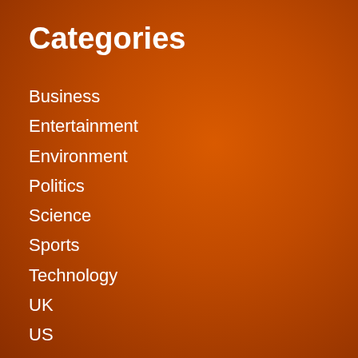Categories
Business
Entertainment
Environment
Politics
Science
Sports
Technology
UK
US
Videos